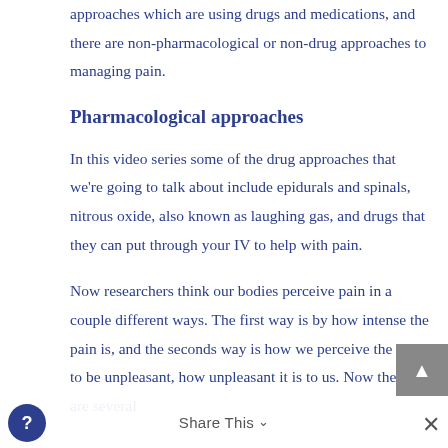approaches which are using drugs and medications, and there are non-pharmacological or non-drug approaches to managing pain.
Pharmacological approaches
In this video series some of the drug approaches that we're going to talk about include epidurals and spinals, nitrous oxide, also known as laughing gas, and drugs that they can put through your IV to help with pain.
Now researchers think our bodies perceive pain in a couple different ways. The first way is by how intense the pain is, and the seconds way is how we perceive the pain to be unpleasant, how unpleasant it is to us. Now there are several